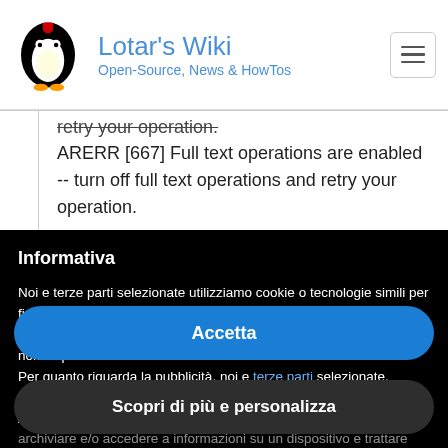Lotar's Wiki — Open-Source, News & HowTos
retry your operation.
ARERR [667] Full text operations are enabled -- turn off full text operations and retry your operation.
Informativa
Noi e terze parti selezionate utilizziamo cookie o tecnologie simili per finalità tecniche e, con il tuo consenso, anche per altre finalità come specificato nella cookie policy. Il rifiuto del consenso può rendere non disponibili le relative funzioni.
Per quanto riguarda la pubblicità, noi e terze parti selezionate, potremmo utilizzare dati di geolocalizzazione precisi e l'identificazione attraverso la scansione del dispositivo, al fine di archiviare e/o accedere a informazioni su un dispositivo e trattare
Accetta
Scopri di più e personalizza